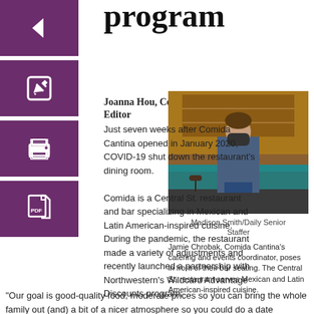program
[Figure (other): Navigation sidebar with four purple square buttons: back arrow, edit/pencil, print, and PDF document icons]
Joanna Hou, Copy Editor
[Figure (photo): Photo of Jamie Chrobak, Comida Cantina's catering and events coordinator, standing in front of the bar with arms crossed, wearing a mask, with teal bar seating and backlit shelves of bottles behind her.]
Madison Smith/Daily Senior Staffer
Jamie Chrobak, Comida Cantina's catering and events coordinator, poses in front of their bar seating. The Central St. restaurant serves Mexican and Latin American-inspired cuisine.
Just seven weeks after Comida Cantina opened in January 2020, COVID-19 shut down the restaurant's dining room.
Comida is a Central St. restaurant and bar specializing in Mexican and Latin American-inspired cuisine. During the pandemic, the restaurant made a variety of adjustments and recently launched a partnership with Northwestern's Wildcard Advantage Discounts program.
“Our goal is good-quality food, moderate prices so you can bring the whole family out (and) a bit of a nicer atmosphere so you could do a date